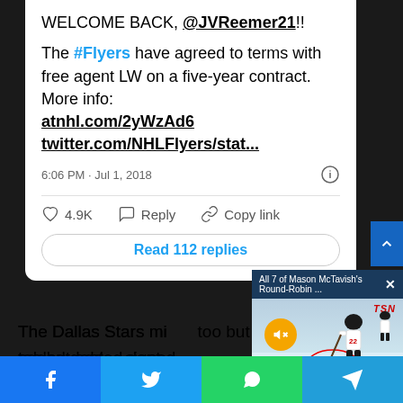WELCOME BACK, @JVReemer21!!
The #Flyers have agreed to terms with free agent LW on a five-year contract. More info: atnhl.com/2yWzAd6 twitter.com/NHLFlyers/stat...
6:06 PM · Jul 1, 2018
4.9K  Reply  Copy link
Read 112 replies
The Dallas Dallas Stars mi... too but added dept... signed goaltender A... deal.
[Figure (screenshot): Video overlay showing TSN hockey video with mute button, title 'All 7 of Mason McTavish's Round-Robin...' and close button]